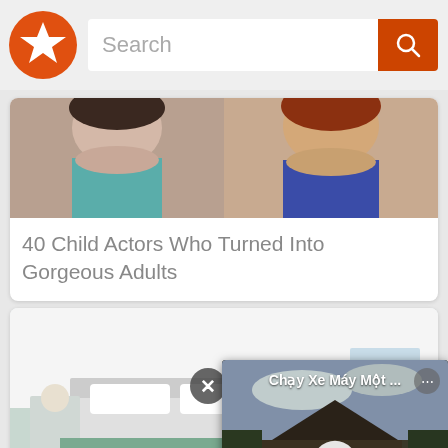[Figure (screenshot): App navigation bar with orange star logo, search input field, and orange search button]
[Figure (photo): Side-by-side photos of women, used as thumbnail for '40 Child Actors Who Turned Into Gorgeous Adults']
40 Child Actors Who Turned Into Gorgeous Adults
[Figure (photo): Photo of woman lying on bed in modern bedroom for 'Magnetic Floating...' article card]
Magnetic Floati... For Mere $1.6 M...
[Figure (screenshot): Video popup overlay showing 'Chạy Xe Máy Một ...' with temple/outdoor scene and play button]
[Figure (photo): Partially visible third card at the bottom of the screen]